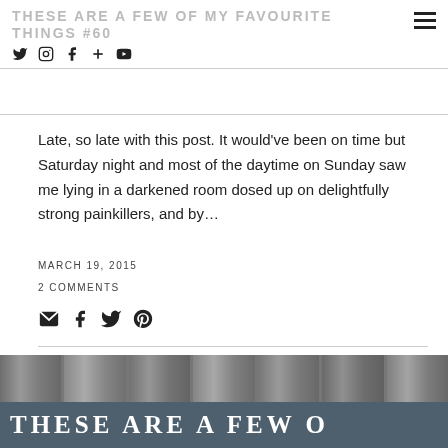THESE ARE A FEW OF MY FAVOURITE THINGS #60
Late, so late with this post. It would've been on time but Saturday night and most of the daytime on Sunday saw me lying in a darkened room dosed up on delightfully strong painkillers, and by…
MARCH 19, 2015
2 COMMENTS
[Figure (photo): Photo of a wooden fence with a dark grey sign reading 'THESE ARE A FEW O...' in white serif letters]
THESE ARE A FEW O